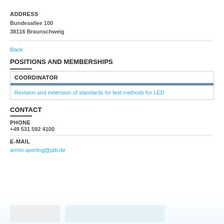ADDRESS
Bundesallee 100
38116 Braunschweig
Back
POSITIONS AND MEMBERSHIPS
COORDINATOR
Revision and extension of standards for test methods for LED
CONTACT
PHONE
+49 531 592 4100
E-MAIL
armin.sperling@ptb.de